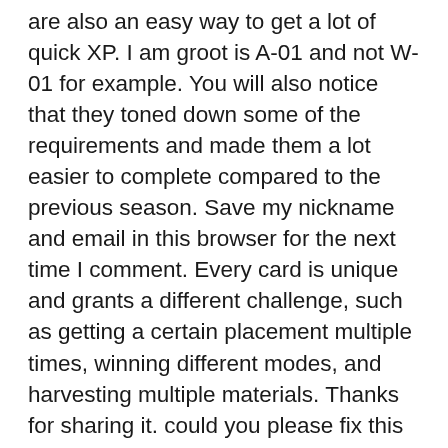are also an easy way to get a lot of quick XP. I am groot is A-01 and not W-01 for example. You will also notice that they toned down some of the requirements and made them a lot easier to complete compared to the previous season. Save my nickname and email in this browser for the next time I comment. Every card is unique and grants a different challenge, such as getting a certain placement multiple times, winning different modes, and harvesting multiple materials. Thanks for sharing it. could you please fix this I'm having trouble figuring out which one is which! What are Fortnite Punch Cards? Khadija specializes in challenge guides and breaking news. BA (Hons) Accounting & Finance. You have to drop them off and continue picking up other passengers if you want to gain meters driven. They are done in Fortnite, what are you trying to do? Win-win for both of us. What are the Rarest Skins in Fortnite? I'm the creator of the Punch Cards video. I understand that you'd like to complete the explosive weapon damage challenge. The numbers